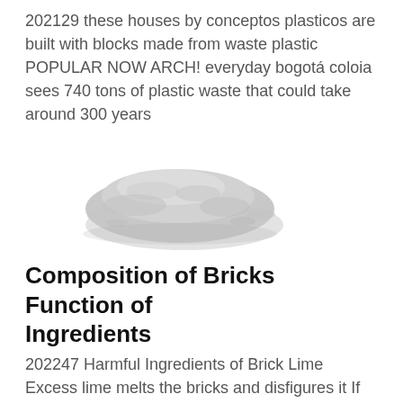202129 these houses by conceptos plasticos are built with blocks made from waste plastic POPULAR NOW ARCH! everyday bogotá coloia sees 740 tons of plastic waste that could take around 300 years
[Figure (photo): A pile of grey cement or powder material, photographed on a white background.]
Composition of Bricks Function of Ingredients
202247 Harmful Ingredients of Brick Lime Excess lime melts the bricks and disfigures it If CaCO 3 exists in the purest form ie if it contains at least 95 CaO in limelump in brick clay it converts into quicklime on burning When
[Figure (photo): Interior of a building or warehouse with red metal frame structure and gridded windows/walls.]